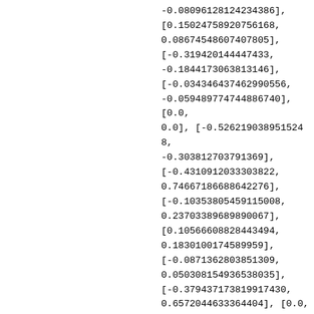[-0.08096128124234386], [0.15024758920756168, 0.08674548607407805], [-0.319420144447433, -0.1844173063813146], [-0.034346437462990556, -0.059489774744886740], [0.0, 0.0], [-0.5262190389515248, -0.303812703791369], [-0.4310912033303822, 0.74667186688642276], [-0.10353805459115008, 0.23703389689890067], [0.10566608828443494, 0.1830100174589959], [-0.0871362803851309, 0.050308154936538035], [-0.379437173819917430, 0.6572044633364404], [0.0, 0.0], [0.0,